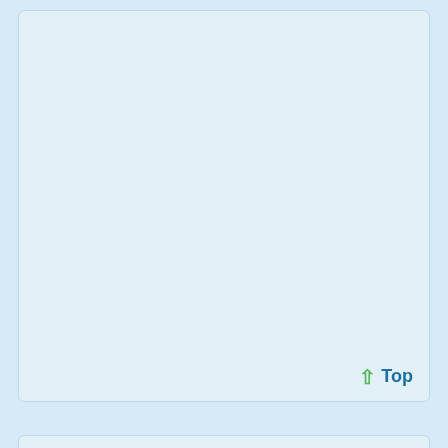Top
Griffin, modified 3 Years ago at 5/30/19 4:54 PM
Created 3 Years ago at 5/30/19 4:54 PM
RE: Relation between Awakening and feeling offended
Posts: 225
Join Date: 4/7/18
Recent Posts